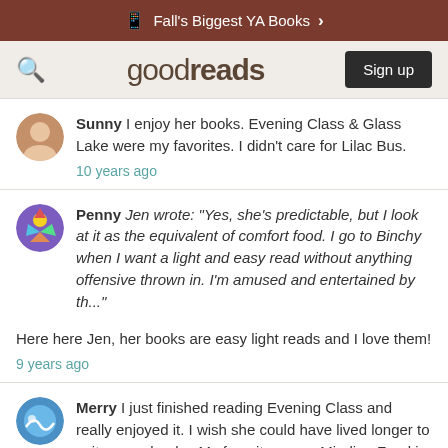Fall's Biggest YA Books >
[Figure (screenshot): Goodreads navigation bar with search icon, logo, and Sign up button]
Sunny I enjoy her books. Evening Class & Glass Lake were my favorites. I didn't care for Lilac Bus.
10 years ago
Penny Jen wrote: "Yes, she's predictable, but I look at it as the equivalent of comfort food. I go to Binchy when I want a light and easy read without anything offensive thrown in. I'm amused and entertained by th..."
Here here Jen, her books are easy light reads and I love them!
9 years ago
Merry I just finished reading Evening Class and really enjoyed it. I wish she could have lived longer to write more books. My favorites were Minding Frankie and Quentin's and Tara Road. To me, she was a storyteller and I will just haveto